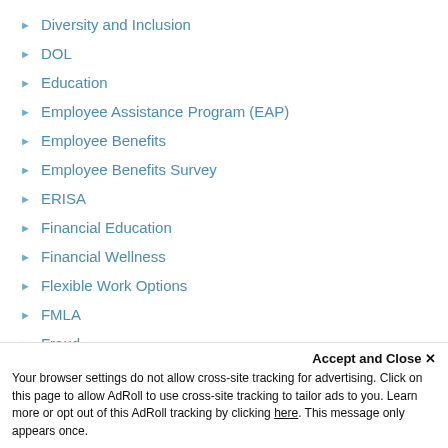Diversity and Inclusion
DOL
Education
Employee Assistance Program (EAP)
Employee Benefits
Employee Benefits Survey
ERISA
Financial Education
Financial Wellness
Flexible Work Options
FMLA
Fraud
Accept and Close ✕
Your browser settings do not allow cross-site tracking for advertising. Click on this page to allow AdRoll to use cross-site tracking to tailor ads to you. Learn more or opt out of this AdRoll tracking by clicking here. This message only appears once.